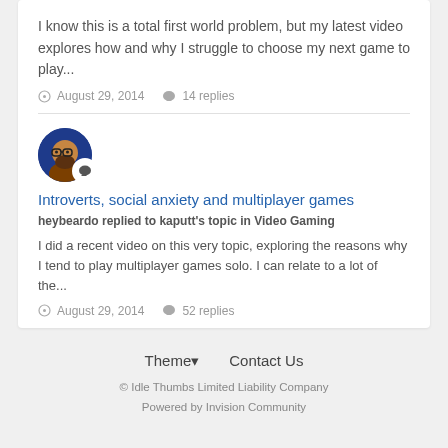I know this is a total first world problem, but my latest video explores how and why I struggle to choose my next game to play...
August 29, 2014   14 replies
[Figure (illustration): Round user avatar showing a bearded person with glasses on dark blue background, with a chat bubble badge overlay]
Introverts, social anxiety and multiplayer games
heybeardo replied to kaputt's topic in Video Gaming
I did a recent video on this very topic, exploring the reasons why I tend to play multiplayer games solo. I can relate to a lot of the...
August 29, 2014   52 replies
Theme ▼   Contact Us
© Idle Thumbs Limited Liability Company
Powered by Invision Community